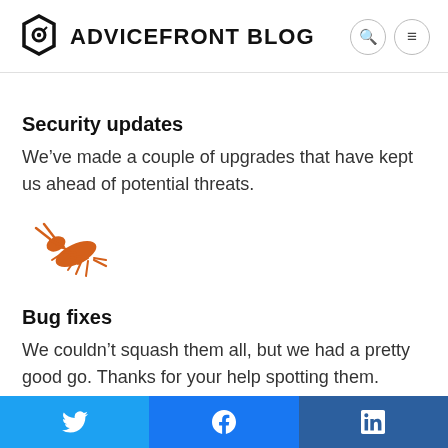ADVICEFRONT BLOG
Security updates
We’ve made a couple of upgrades that have kept us ahead of potential threats.
[Figure (illustration): Orange bug/centipede illustration]
Bug fixes
We couldn’t squash them all, but we had a pretty good go. Thanks for your help spotting them.
Twitter share button, Facebook share button, LinkedIn share button